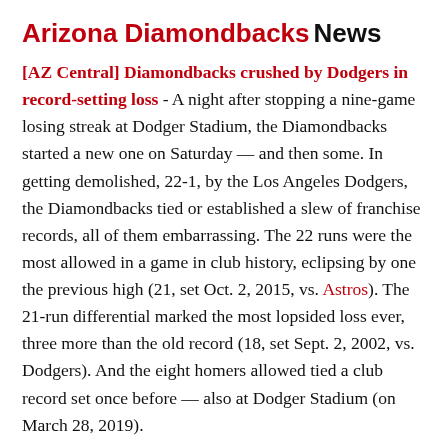Arizona Diamondbacks News
[AZ Central] Diamondbacks crushed by Dodgers in record-setting loss - A night after stopping a nine-game losing streak at Dodger Stadium, the Diamondbacks started a new one on Saturday — and then some. In getting demolished, 22-1, by the Los Angeles Dodgers, the Diamondbacks tied or established a slew of franchise records, all of them embarrassing. The 22 runs were the most allowed in a game in club history, eclipsing by one the previous high (21, set Oct. 2, 2015, vs. Astros). The 21-run differential marked the most lopsided loss ever, three more than the old record (18, set Sept. 2, 2002, vs. Dodgers). And the eight homers allowed tied a club record set once before — also at Dodger Stadium (on March 28, 2019).